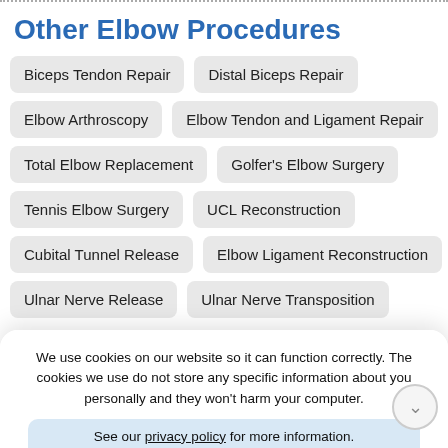Other Elbow Procedures
Biceps Tendon Repair
Distal Biceps Repair
Elbow Arthroscopy
Elbow Tendon and Ligament Repair
Total Elbow Replacement
Golfer's Elbow Surgery
Tennis Elbow Surgery
UCL Reconstruction
Cubital Tunnel Release
Elbow Ligament Reconstruction
Ulnar Nerve Release
Ulnar Nerve Transposition
We use cookies on our website so it can function correctly. The cookies we use do not store any specific information about you personally and they won't harm your computer. See our privacy policy for more information.
Accept